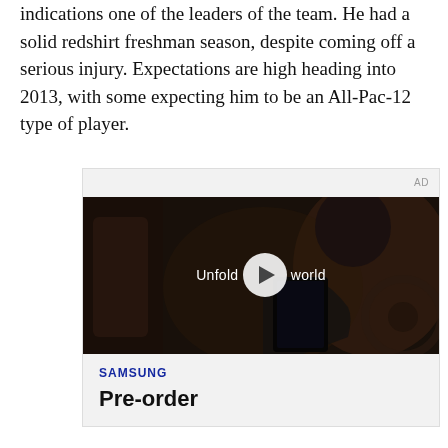indications one of the leaders of the team. He had a solid redshirt freshman season, despite coming off a serious injury. Expectations are high heading into 2013, with some expecting him to be an All-Pac-12 type of player.
[Figure (screenshot): Samsung advertisement with video player showing 'Unfold your world' campaign. Video thumbnail shows a person in a car holding a Samsung foldable phone. Below the video is the Samsung logo and 'Pre-order' text.]